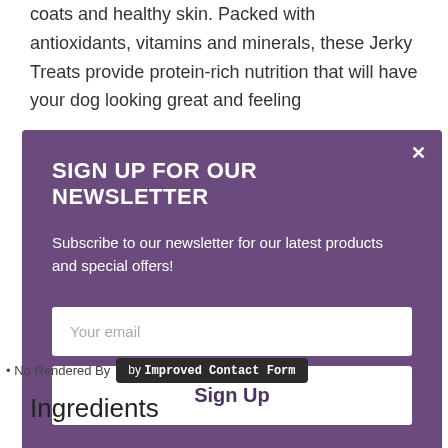coats and healthy skin. Packed with antioxidants, vitamins and minerals, these Jerky Treats provide protein-rich nutrition that will have your dog looking great and feeling
SIGN UP FOR OUR NEWSLETTER
Subscribe to our newsletter for our latest products and special offers!
Your email
Sign Up
• No Rendered By by Improved Contact Form
Ingredients